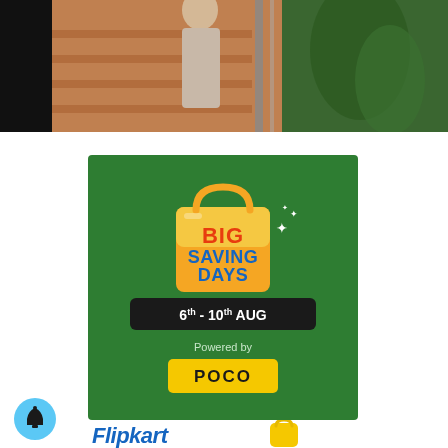[Figure (photo): Top portion of a webpage showing a black background with a person on stairs, partially cropped]
[Figure (infographic): Flipkart Big Saving Days advertisement banner on green background. Text: BIG SAVING DAYS, 6th - 10th AUG, Powered by POCO. Yellow shopping bag icon with sparkles.]
[Figure (logo): Flipkart logo in blue italic text with yellow shopping bag icon, partially visible at bottom]